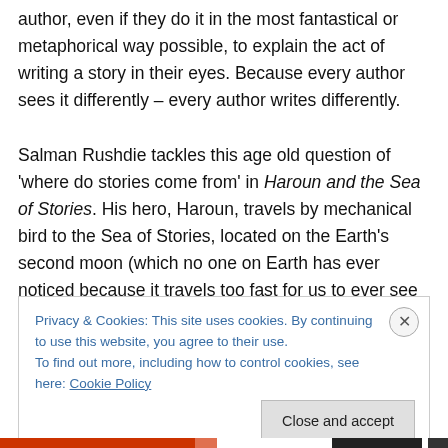author, even if they do it in the most fantastical or metaphorical way possible, to explain the act of writing a story in their eyes. Because every author sees it differently – every author writes differently.

Salman Rushdie tackles this age old question of 'where do stories come from' in Haroun and the Sea of Stories. His hero, Haroun, travels by mechanical bird to the Sea of Stories, located on the Earth's second moon (which no one on Earth has ever noticed because it travels too fast for us to ever see it) in order to ask for his father's
Privacy & Cookies: This site uses cookies. By continuing to use this website, you agree to their use.
To find out more, including how to control cookies, see here: Cookie Policy